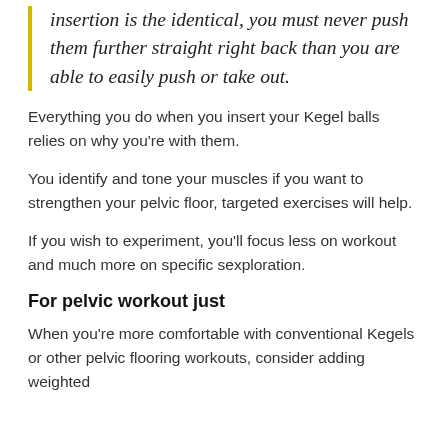insertion is the identical, you must never push them further straight right back than you are able to easily push or take out.
Everything you do when you insert your Kegel balls relies on why you're with them.
You identify and tone your muscles if you want to strengthen your pelvic floor, targeted exercises will help.
If you wish to experiment, you'll focus less on workout and much more on specific sexploration.
For pelvic workout just
When you're more comfortable with conventional Kegels or other pelvic flooring workouts, consider adding weighted